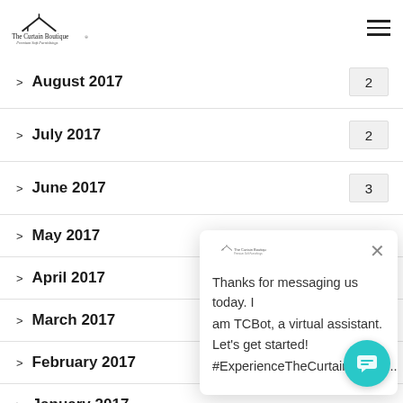The Curtain Boutique® — Premium Soft Furnishings
> August 2017  2
> July 2017  2
> June 2017  3
> May 2017
> April 2017
> March 2017
> February 2017
> January 2017
[Figure (screenshot): Chat popup from TCBot virtual assistant with message: Thanks for messaging us today. I am TCBot, a virtual assistant. Let's get started! #ExperienceTheCurtainBoutiq...]